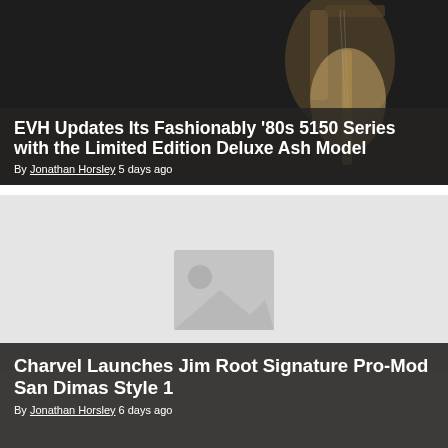[Figure (photo): Guitar image with dark background for EVH article card]
EVH Updates Its Fashionably ‘80s 5150 Series with the Limited Edition Deluxe Ash Model
By Jonathan Horsley 5 days ago
[Figure (photo): Placeholder image for Charvel article card - grey background with image placeholder icon]
Charvel Launches Jim Root Signature Pro-Mod San Dimas Style 1
By Jonathan Horsley 6 days ago